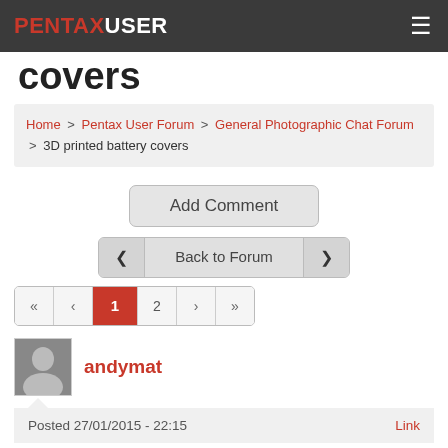PENTAXUSER
covers
Home > Pentax User Forum > General Photographic Chat Forum > 3D printed battery covers
Add Comment
Back to Forum
« ‹ 1 2 › »
andymat
Posted 27/01/2015 - 22:15    Link